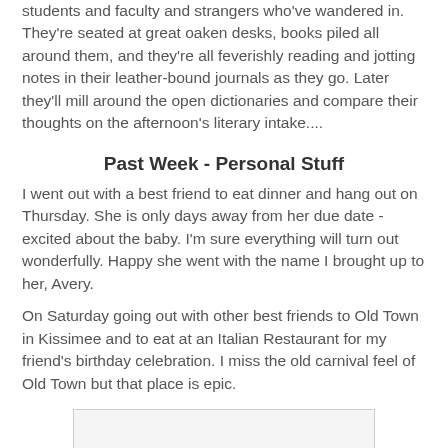students and faculty and strangers who've wandered in. They're seated at great oaken desks, books piled all around them, and they're all feverishly reading and jotting notes in their leather-bound journals as they go. Later they'll mill around the open dictionaries and compare their thoughts on the afternoon's literary intake....
Past Week - Personal Stuff
I went out with a best friend to eat dinner and hang out on Thursday. She is only days away from her due date - excited about the baby. I'm sure everything will turn out wonderfully. Happy she went with the name I brought up to her, Avery.
On Saturday going out with other best friends to Old Town in Kissimee and to eat at an Italian Restaurant for my friend’s birthday celebration. I miss the old carnival feel of Old Town but that place is epic.
[Figure (photo): A light gray rectangle representing an image placeholder with a thin border]